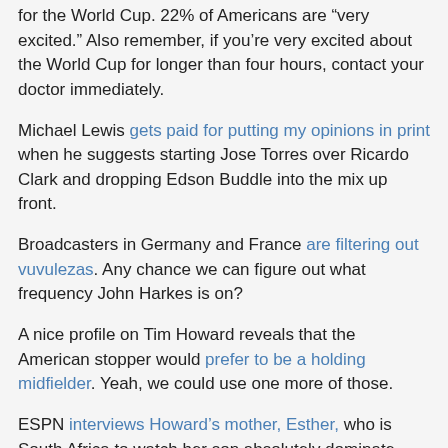for the World Cup. 22% of Americans are "very excited." Also remember, if you're very excited about the World Cup for longer than four hours, contact your doctor immediately.
Michael Lewis gets paid for putting my opinions in print when he suggests starting Jose Torres over Ricardo Clark and dropping Edson Buddle into the mix up front.
Broadcasters in Germany and France are filtering out vuvulezas. Any chance we can figure out what frequency John Harkes is on?
A nice profile on Tim Howard reveals that the American stopper would prefer to be a holding midfielder. Yeah, we could use one more of those.
ESPN interviews Howard's mother, Esther, who is South Africa to watch her son absolutely dominate.
Sports Authority is being sued for using World Cup logos in its ads. Interestingly, the ads featured, "Taylor Twellman, a forward on the U.S. national team." Really? Is playing on the